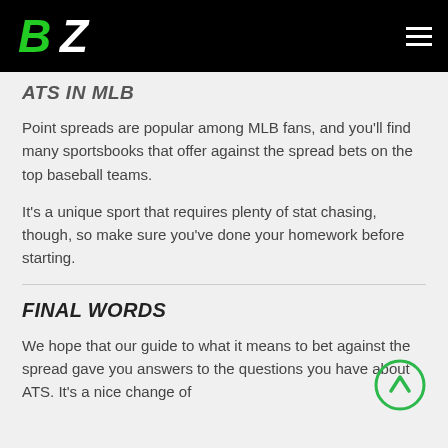BZ logo and navigation bar
ATS IN MLB
Point spreads are popular among MLB fans, and you'll find many sportsbooks that offer against the spread bets on the top baseball teams.
It's a unique sport that requires plenty of stat chasing, though, so make sure you've done your homework before starting.
FINAL WORDS
We hope that our guide to what it means to bet against the spread gave you answers to the questions you have about ATS. It's a nice change of